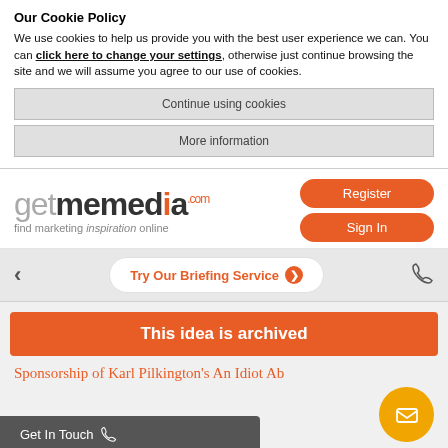Our Cookie Policy
We use cookies to help us provide you with the best user experience we can. You can click here to change your settings, otherwise just continue browsing the site and we will assume you agree to our use of cookies.
Continue using cookies
More information
[Figure (logo): getmemedia.com logo with tagline 'find marketing inspiration online' and Register/Sign In orange buttons]
Try Our Briefing Service ❯
This idea is archived
Sponsorship of Karl Pilkington's An Idiot Ab...